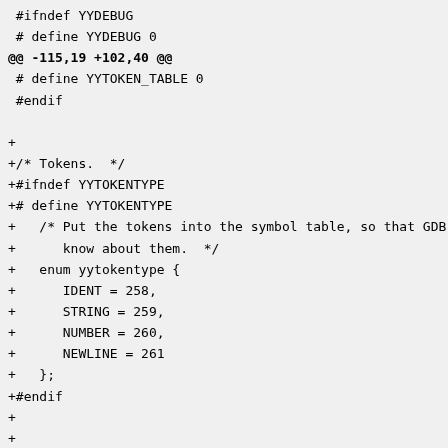#ifndef YYDEBUG
# define YYDEBUG 0
@@ -115,19 +102,40 @@
 # define YYTOKEN_TABLE 0
 #endif

+
+/* Tokens.  */
+#ifndef YYTOKENTYPE
+# define YYTOKENTYPE
+   /* Put the tokens into the symbol table, so that GDB and o
+      know about them.  */
+   enum yytokentype {
+      IDENT = 258,
+      STRING = 259,
+      NUMBER = 260,
+      NEWLINE = 261
+   };
+#endif
+
+
+
 #if ! defined YYSTYPE && ! defined YYSTYPE_IS_DECLARED
 typedef union YYSTYPE
+{